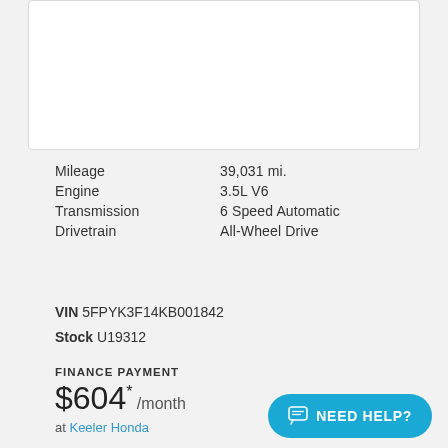[Figure (photo): Car listing image placeholder (white card area)]
Mileage 39,031 mi.
Engine 3.5L V6
Transmission 6 Speed Automatic
Drivetrain All-Wheel Drive
VIN 5FPYK3F14KB001842
Stock U19312
FINANCE PAYMENT
$604* /month
at Keeler Honda
Certified
2017 Honda
Ridgeline RTL-E
NEED HELP?